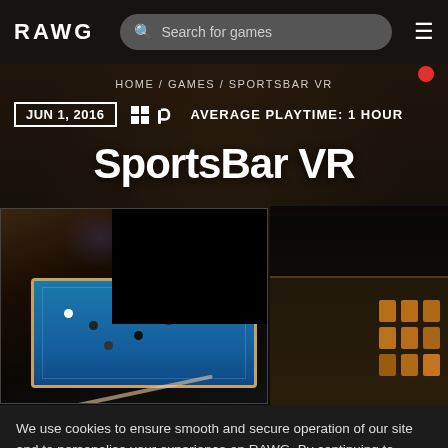RAWG  Search for games  ☰
HOME / GAMES / SPORTSBAR VR
JUN 1, 2016  [Windows] [PlayStation]  AVERAGE PLAYTIME: 1 HOUR
SportsBar VR
[Figure (screenshot): Two screenshots side by side: left shows a pool/billiards table scene in a dark bar environment; right shows a night exterior of a building with glowing windows and a SportsBar VR sign]
We use cookies to ensure smooth and secure operation of our site and to personalise your experience on RAWG. By continuing to browse this site you agree to our use of cookies. More details in Cookies Policy.
My games